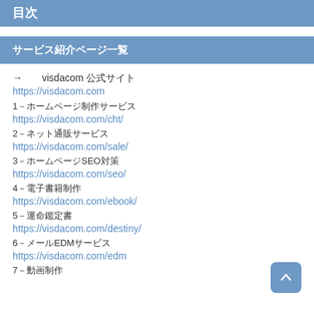目次
サービス紹介ページ一覧
→　visdacom 公式サイト
https://visdacom.com
1－ホームページ制作サービス
https://visdacom.com/cht/
2－ネット通販サービス
https://visdacom.com/sale/
3－ホームページSEO対策
https://visdacom.com/seo/
4－電子書籍制作
https://visdacom.com/ebook/
5－運命鑑定書
https://visdacom.com/destiny/
6－メールEDMサービス
https://visdacom.com/edm
7－動画制作